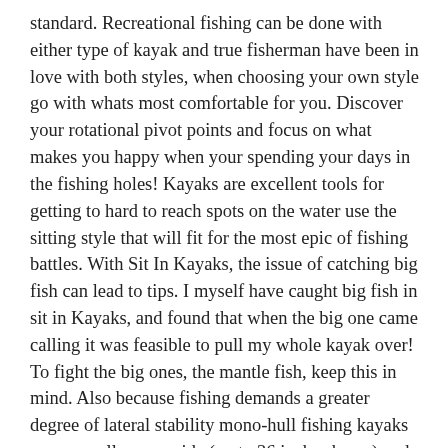standard. Recreational fishing can be done with either type of kayak and true fisherman have been in love with both styles, when choosing your own style go with whats most comfortable for you. Discover your rotational pivot points and focus on what makes you happy when your spending your days in the fishing holes! Kayaks are excellent tools for getting to hard to reach spots on the water use the sitting style that will fit for the most epic of fishing battles. With Sit In Kayaks, the issue of catching big fish can lead to tips. I myself have caught big fish in sit in Kayaks, and found that when the big one came calling it was feasible to pull my whole kayak over! To fight the big ones, the mantle fish, keep this in mind. Also because fishing demands a greater degree of lateral stability mono-hull fishing kayaks are generally very wide (up to 36 inches beam) and frequently equipped with outriggers to stabilize your fishing.
Catamaran or twin hull fishing kayaks (the kind that are rougher and inflatable generally) are expanding in public